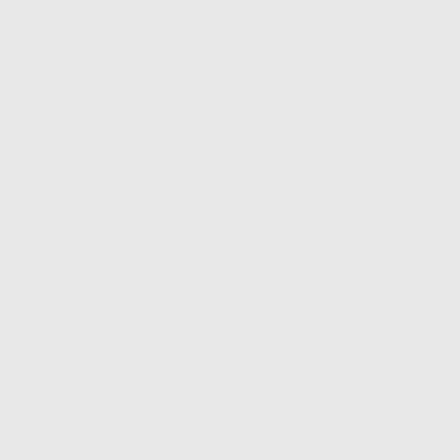[More, 7.] 6 Sept., 1555. Edm... buryed in the churche of
* There is a pedigree of Cart... which it states that the testator Thomas Cranmer, of Sutterton
lxxxxv yeres.
Ossington. To Agnes my wief o... of my mandors of Westmallyng, possessions of the late dissolvyd...
I will that Agnes my wief shal... Agnes it shall remayne to Hughe Cartwright my sonne, and for lad... male to Thomas Cartwright my s... issue to my sonne John Cartwrig... decease of me and Agnes my wi... iiij d. oute of my landes in Ossin... sonne Hughe all my lease of the ... Hughe departe oute of this world... whome I have bequeathed my m... sonnes, every one fourtie markes... black bald geldinge, a gowne of ...